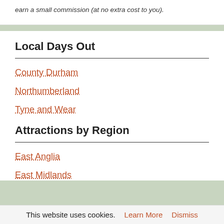earn a small commission (at no extra cost to you).
Local Days Out
County Durham
Northumberland
Tyne and Wear
Attractions by Region
East Anglia
East Midlands
This website uses cookies. Learn More Dismiss